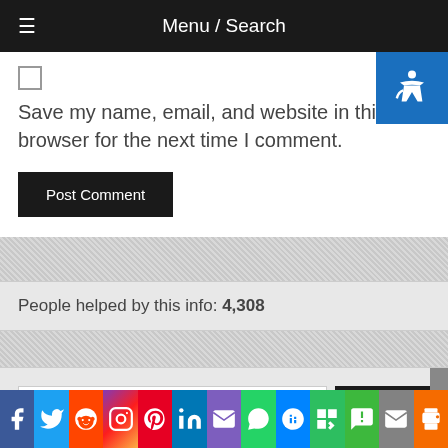Menu / Search
Save my name, email, and website in this browser for the next time I comment.
Post Comment
People helped by this info: 4,308
Search ...
Social share icons: Facebook, Twitter, Reddit, Instagram, Pinterest, LinkedIn, Email, WhatsApp, Messenger, Evernote, SMS, Mail, Print